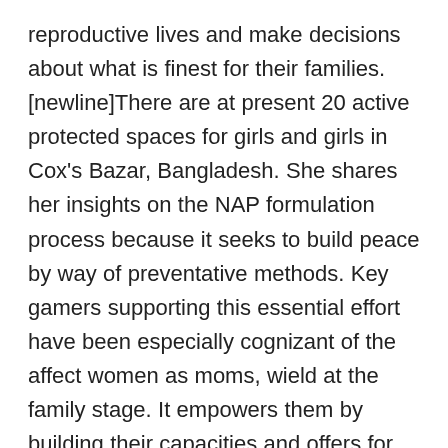reproductive lives and make decisions about what is finest for their families. [newline]There are at present 20 active protected spaces for girls and girls in Cox's Bazar, Bangladesh. She shares her insights on the NAP formulation process because it seeks to build peace by way of preventative methods. Key gamers supporting this essential effort have been especially cognizant of the affect women as moms, wield at the family stage. It empowers them by building their capacities and offers for measures to address structural obstacles to gender equality. She additionally talks about her tutorial position in positively influencing youthful generations. Odhikar , that means 'rights' in Bangla, is a registered human rights organization based in Dhaka, Bangladesh established on October 10, 1994 by a bunch of human rights defenders, to monitor human rights violations and create wider consciousness. The Asian Human Rights Commission works in path of the novel rethinking and